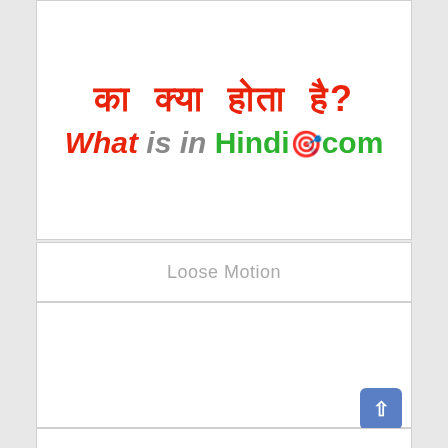[Figure (logo): WhatisInHindi.com website header logo with Hindi text 'का क्या होता है?' in red and site name 'What is in Hindi.COM' in orange/gray/green colors with decorative emoji]
Loose Motion
[Figure (other): White advertisement/content placeholder area]
[Figure (other): Partial bottom section showing green decorative element]